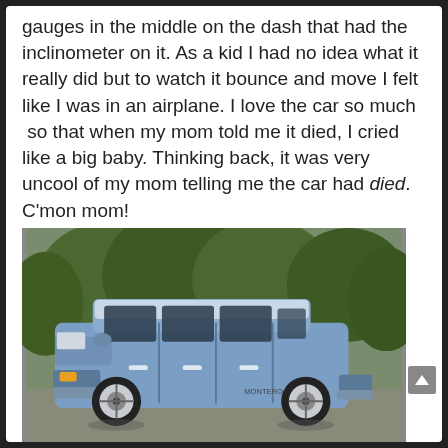gauges in the middle on the dash that had the inclinometer on it. As a kid I had no idea what it really did but to watch it bounce and move I felt like I was in an airplane. I love the car so much  so that when my mom told me it died, I cried like a big baby. Thinking back, it was very uncool of my mom telling me the car had died. C'mon mom!
[Figure (photo): A blue SUV (Mitsubishi Montero or similar 4x4) parked outdoors in front of green trees. Side profile view showing the full vehicle.]